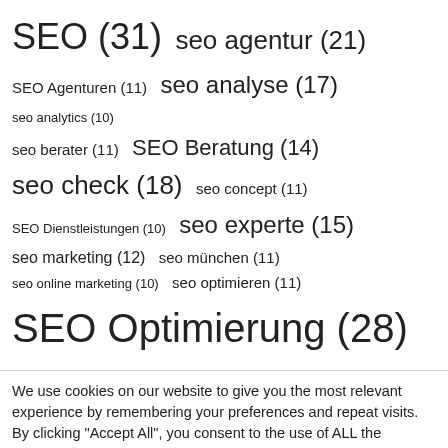[Figure (infographic): Tag cloud of SEO-related keywords with counts indicating frequency, displayed in varying font sizes proportional to their counts.]
We use cookies on our website to give you the most relevant experience by remembering your preferences and repeat visits. By clicking "Accept All", you consent to the use of ALL the cookies. However, you may visit "Cookie Settings" to provide a controlled consent.
Cookie Settings | Accept All | Translate »